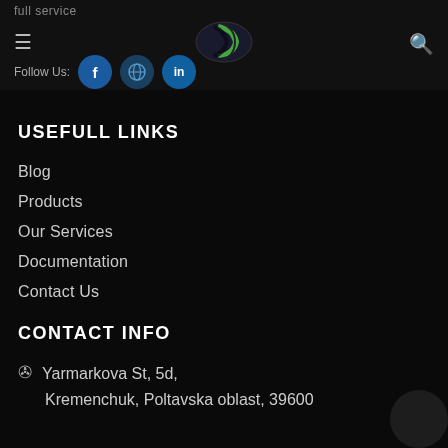full service
[Figure (logo): Company logo with green crescent/P shape]
Follow Us:
[Figure (illustration): Social media icons: Facebook, Twitter/globe, LinkedIn]
USEFULL LINKS
Blog
Products
Our Services
Documentation
Contact Us
CONTACT INFO
Yarmarkova St, 5d,
Kremenchuk, Poltavska oblast, 39600